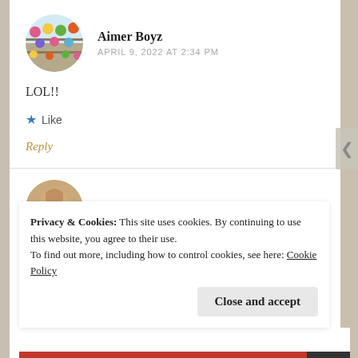Aimer Boyz
APRIL 9, 2022 AT 2:34 PM
LOL!!
Like
Reply
Ashley L. Peterson
Privacy & Cookies: This site uses cookies. By continuing to use this website, you agree to their use. To find out more, including how to control cookies, see here: Cookie Policy
Close and accept